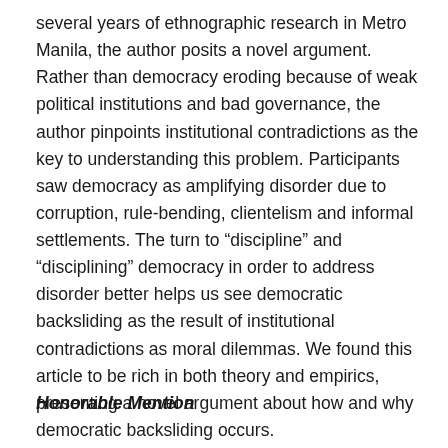several years of ethnographic research in Metro Manila, the author posits a novel argument. Rather than democracy eroding because of weak political institutions and bad governance, the author pinpoints institutional contradictions as the key to understanding this problem. Participants saw democracy as amplifying disorder due to corruption, rule-bending, clientelism and informal settlements. The turn to “discipline” and “disciplining” democracy in order to address disorder better helps us see democratic backsliding as the result of institutional contradictions as moral dilemmas. We found this article to be rich in both theory and empirics, presenting a novel argument about how and why democratic backsliding occurs.
Honorable Mention